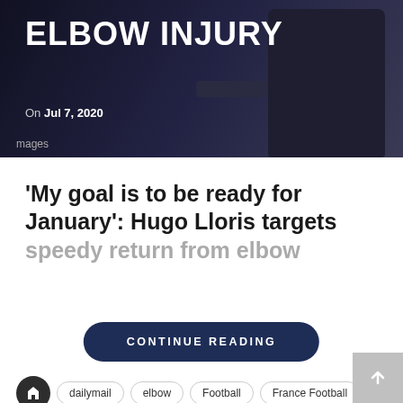[Figure (photo): Hero image with dark background showing text 'ELBOW INJURY' with date Jul 7, 2020 and images label]
'My goal is to be ready for January': Hugo Lloris targets speedy return from elbow
CONTINUE READING
dailymail
elbow
Football
France Football
goalkeeper
Hugo
injury
January